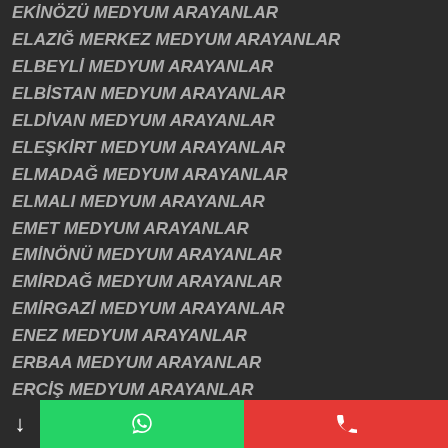EKİNÖZÜ MEDYUM ARAYANLAR
ELAZIĞ MERKEZ MEDYUM ARAYANLAR
ELBEYLİ MEDYUM ARAYANLAR
ELBİSTAN MEDYUM ARAYANLAR
ELDİVAN MEDYUM ARAYANLAR
ELEŞKİRT MEDYUM ARAYANLAR
ELMADAĞ MEDYUM ARAYANLAR
ELMALI MEDYUM ARAYANLAR
EMET MEDYUM ARAYANLAR
EMİNÖNÜ MEDYUM ARAYANLAR
EMİRDAĞ MEDYUM ARAYANLAR
EMİRGAZİ MEDYUM ARAYANLAR
ENEZ MEDYUM ARAYANLAR
ERBAA MEDYUM ARAYANLAR
ERCİŞ MEDYUM ARAYANLAR
ERDEK MEDYUM ARAYANLAR
ERDEMLİ MEDYUM ARAYANLAR
EREĞLİ MEDYUM ARAYANLAR